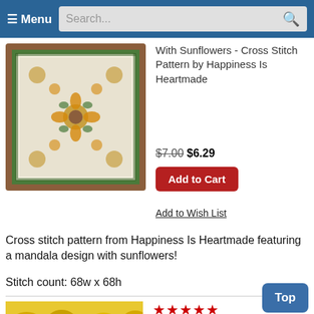☰ Menu   Search...
[Figure (photo): Cross stitch mandala pattern with sunflowers in a brown frame]
With Sunflowers - Cross Stitch Pattern by Happiness Is Heartmade
$7.00 $6.29
Add to Cart
Add to Wish List
Cross stitch pattern from Happiness Is Heartmade featuring a mandala design with sunflowers!
Stitch count: 68w x 68h
[Figure (photo): Cross stitch sunflower barn pattern with sunflowers and a barn]
★★★★★ Sunflower Barn - Cross Stitch Pattern by Needle Bling D
$12.00 $10.79